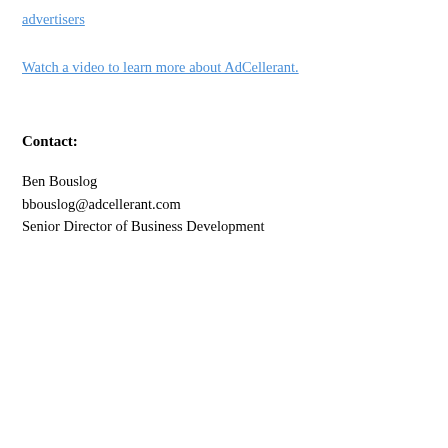advertisers
Watch a video to learn more about AdCellerant.
Contact:
Ben Bouslog
bbouslog@adcellerant.com
Senior Director of Business Development